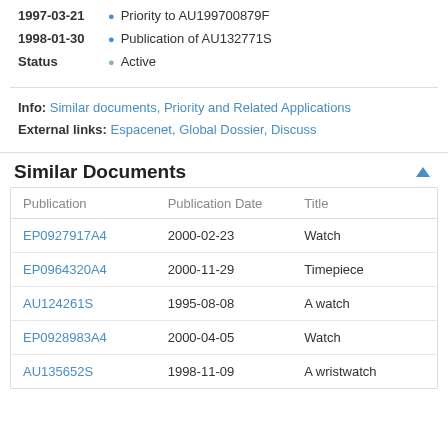1997-03-21 • Priority to AU199700879F
1998-01-30 • Publication of AU132771S
Status • Active
Info: Similar documents, Priority and Related Applications
External links: Espacenet, Global Dossier, Discuss
Similar Documents
| Publication | Publication Date | Title |
| --- | --- | --- |
| EP0927917A4 | 2000-02-23 | Watch |
| EP0964320A4 | 2000-11-29 | Timepiece |
| AU124261S | 1995-08-08 | A watch |
| EP0928983A4 | 2000-04-05 | Watch |
| AU135652S | 1998-11-09 | A wristwatch |